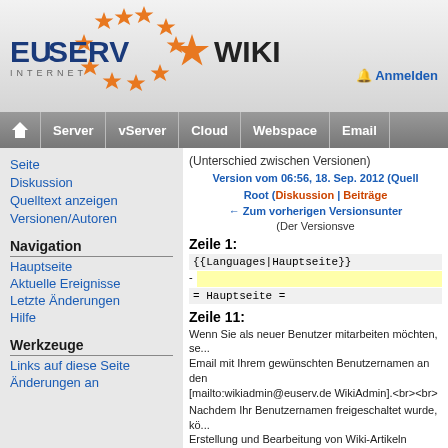[Figure (logo): EUserv Wiki logo with orange stars arranged in a circle and text EUserv Wiki Internet]
Anmelden
Server | vServer | Cloud | Webspace | Email
Seite
Diskussion
Quelltext anzeigen
Versionen/Autoren
Navigation
Hauptseite
Aktuelle Ereignisse
Letzte Änderungen
Hilfe
Werkzeuge
Links auf diese Seite
Änderungen an
(Unterschied zwischen Versionen)
Version vom 06:56, 18. Sep. 2012 (Quell...)
Root (Diskussion | Beiträge...)
← Zum vorherigen Versionsunter...
(Der Versionsve...
Zeile 1:
{{Languages|Hauptseite}}
= Hauptseite =
Zeile 11:
Wenn Sie als neuer Benutzer mitarbeiten möchten, se...
Email mit Ihrem gewünschten Benutzernamen an den...
[mailto:wikiadmin@euserv.de WikiAdmin].<br><br>
Nachdem Ihr Benutzernamen freigeschaltet wurde, kö...
Erstellung und Bearbeitung von Wiki-Artikeln beginne...
Community an Ihrem Wissen über die EUserv Dienste...
EUserv übernimmt keine Gewähr für die Richtigkeit de...
- <br>
- <br>